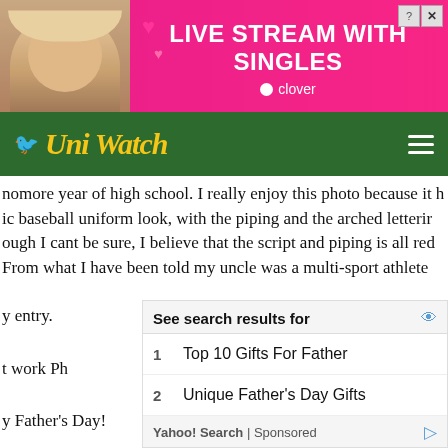[Figure (screenshot): Pink advertisement banner for 'LIVE STREAM WITH SINGLES' by Clover dating app, with a woman's photo on the left and heart emojis]
[Figure (logo): UniWatch website navigation bar with yellow italic logo on green background and hamburger menu icon]
nomore year of high school. I really enjoy this photo because it h ic baseball uniform look, with the piping and the arched letterir ough I cant be sure, I believe that the script and piping is all red From what I have been told my uncle was a multi-sport athlete also on the football team as well), a really well-liked figure in hi ol and a great guy. David's life was cut short when he was killed k driver while on spring break in Boynton Beach, FL many years born. I never met him, but most of the photos I've seen of him in some kind of uniform, therefore I wanted to be sure to includ
y entry.
t work Ph
y Father's Day!
[Figure (screenshot): Yahoo Search sponsored ad widget showing search results: 1. Top 10 Gifts For Father, 2. Unique Father's Day Gifts]